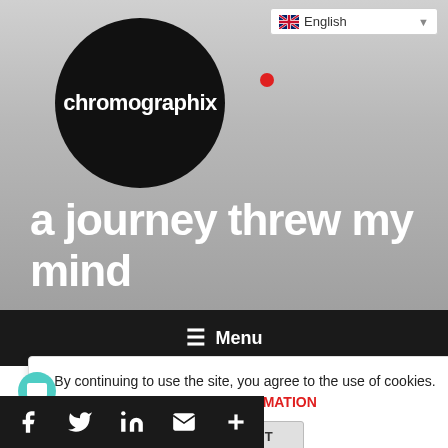[Figure (logo): Chromographix logo: black circle with white bold text 'chromographix' and a red dot accent, set against a grey gradient background]
a journey threw my mind
English
≡ Menu
By continuing to use the site, you agree to the use of cookies. MORE INFORMATION
ACCEPT
JAMES KIRKWOOD